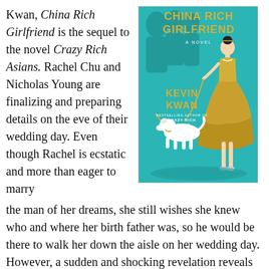Kwan, China Rich Girlfriend is the sequel to the novel Crazy Rich Asians. Rachel Chu and Nicholas Young are finalizing and preparing details on the eve of their wedding day. Even though Rachel is ecstatic and more than eager to marry the man of her dreams, she still wishes she knew who and where her birth father was, so he would be there to walk her down the aisle on her wedding day. However, a sudden and shocking revelation reveals his identity, and Rachel reunites with her
[Figure (illustration): Book cover of 'China Rich Girlfriend' by Kevin Kwan. Teal/turquoise background with a stylized illustration of a woman in a gold dress walking a white dog. Text reads: CHINA RICH GIRLFRIEND, A NOVEL, KEVIN KWAN, BESTSELLING AUTHOR OF CRAZY RICH ASIANS.]